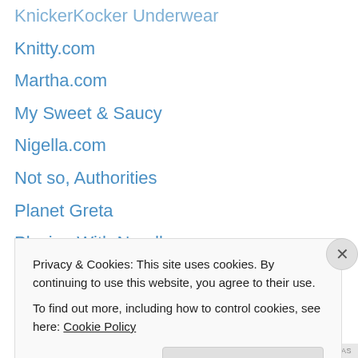KnickerKocker Underwear
Knitty.com
Martha.com
My Sweet & Saucy
Nigella.com
Not so, Authorities
Planet Greta
Playing With Needles
Pop Culture Nerd
SaveOurTacoTrucks!
Stay-at-home-Yeti
SunRecords.com
The Library Store
The Slack Daily
Privacy & Cookies: This site uses cookies. By continuing to use this website, you agree to their use. To find out more, including how to control cookies, see here: Cookie Policy
Close and accept